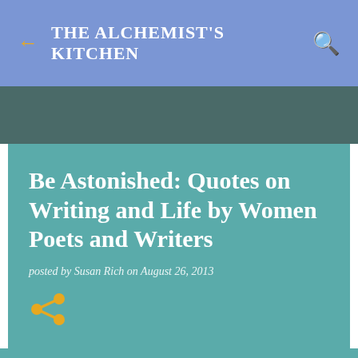THE ALCHEMIST'S KITCHEN
Be Astonished: Quotes on Writing and Life by Women Poets and Writers
posted by Susan Rich on August 26, 2013
[Figure (illustration): Share icon in orange/gold color]
[Figure (photo): Broken/loading image placeholder with small image icon on left]